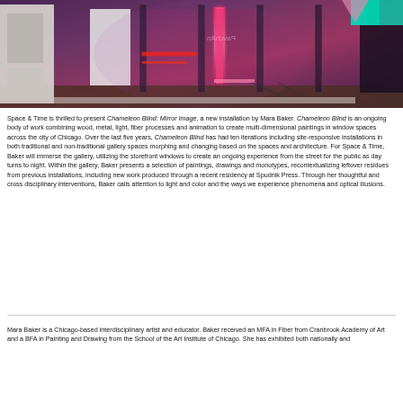[Figure (photo): Interior installation photo showing reflective panels, neon/LED lights in pink, red, and teal colors, wood frames, and mirror-like surfaces in a gallery storefront window space at night. The text 'PavchAn' or similar is reflected in reversed lettering on one of the panels.]
Space & Time is thrilled to present Chameleon Blind: Mirror Image, a new installation by Mara Baker. Chameleon Blind is an ongoing body of work combining wood, metal, light, fiber processes and animation to create multi-dimensional paintings in window spaces across the city of Chicago. Over the last five years, Chameleon Blind has had ten iterations including site-responsive installations in both traditional and non-traditional gallery spaces morphing and changing based on the spaces and architecture. For Space & Time, Baker will immerse the gallery, utilizing the storefront windows to create an ongoing experience from the street for the public as day turns to night. Within the gallery, Baker presents a selection of paintings, drawings and monotypes, recontextualizing leftover residues from previous installations, including new work produced through a recent residency at Spudnik Press. Through her thoughtful and cross disciplinary interventions, Baker calls attention to light and color and the ways we experience phenomena and optical illusions.
Mara Baker is a Chicago-based interdisciplinary artist and educator. Baker received an MFA in Fiber from Cranbrook Academy of Art and a BFA in Painting and Drawing from the School of the Art Institute of Chicago. She has exhibited both nationally and